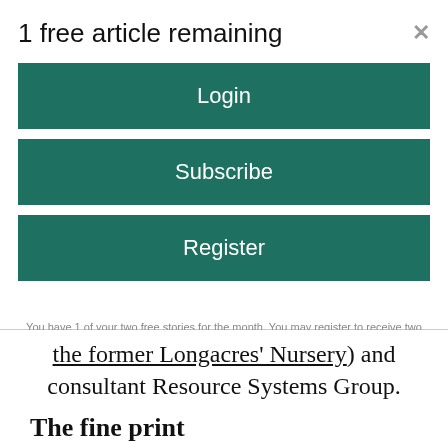1 free article remaining
Login
Subscribe
Register
You have 1 of your two free stories for the month. You may register to receive two more free stories this month and four stories each month going forward. By registering you'll be opting in to receive our email newsletter and occasional promotions. You may opt out at any time.
the former Longacres' Nursery) and consultant Resource Systems Group.
The fine print